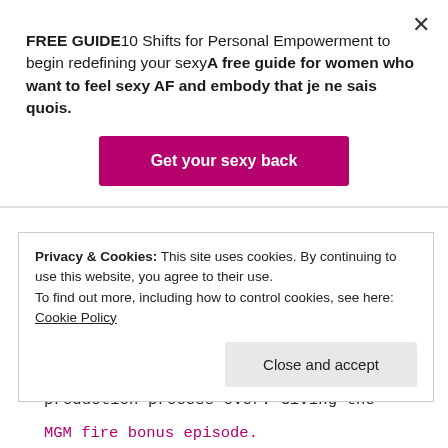FREE GUIDE10 Shifts for Personal Empowerment to begin redefining your sexyA free guide for women who want to feel sexy AF and embody that je ne sais quois.
Get your sexy back
costumes and sets was so great that they had to start the entire production process over. Giving the designers and artisans only 8 months to get the show ready again. If you'd like to hear more details about how one of the worst fires in hotel
Privacy & Cookies: This site uses cookies. By continuing to use this website, you agree to their use.
To find out more, including how to control cookies, see here:
Cookie Policy
Close and accept
MGM fire bonus episode.